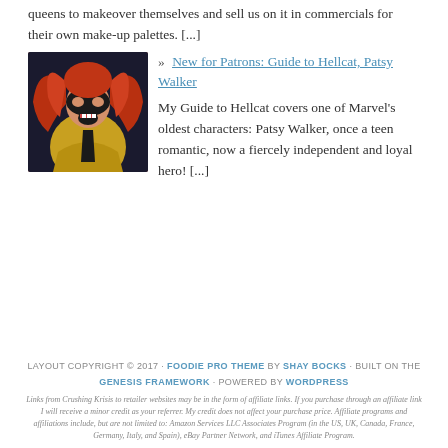queens to makeover themselves and sell us on it in commercials for their own make-up palettes. [...]
[Figure (photo): Comic book art of Hellcat / Patsy Walker character with red hair, wearing a black and yellow costume, mouth open in a fierce expression]
» New for Patrons: Guide to Hellcat, Patsy Walker
My Guide to Hellcat covers one of Marvel's oldest characters: Patsy Walker, once a teen romantic, now a fiercely independent and loyal hero! [...]
LAYOUT COPYRIGHT © 2017 · FOODIE PRO THEME BY SHAY BOCKS · BUILT ON THE GENESIS FRAMEWORK · POWERED BY WORDPRESS
Links from Crushing Krisis to retailer websites may be in the form of affiliate links. If you purchase through an affiliate link I will receive a minor credit as your referrer. My credit does not affect your purchase price. Affiliate programs and affiliations include, but are not limited to: Amazon Services LLC Associates Program (in the US, UK, Canada, France, Germany, Italy, and Spain), eBay Partner Network, and iTunes Affiliate Program.